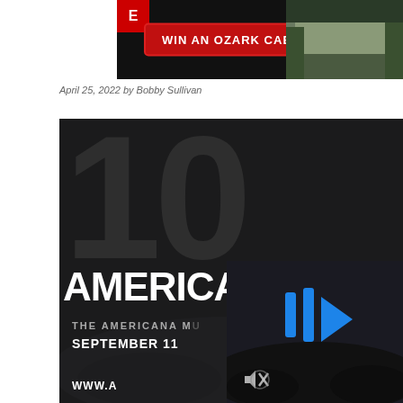[Figure (photo): Advertisement banner: WIN AN OZARK CABIN button on dark background with cabin photo on right]
April 25, 2022 by Bobby Sullivan
[Figure (photo): AmericanaFest promotional image: dark background with large '10' number, AMERICANAFEST text, THE AMERICANA MUSIC..., SEPTEMBER 11, WWW.A... URL, with video player overlay showing blue play icons and mute button]